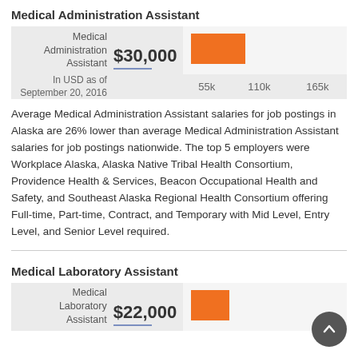Medical Administration Assistant
[Figure (bar-chart): Horizontal bar chart showing Medical Administration Assistant salary of $30,000 against a scale of 55k, 110k, 165k]
Average Medical Administration Assistant salaries for job postings in Alaska are 26% lower than average Medical Administration Assistant salaries for job postings nationwide. The top 5 employers were Workplace Alaska, Alaska Native Tribal Health Consortium, Providence Health & Services, Beacon Occupational Health and Safety, and Southeast Alaska Regional Health Consortium offering Full-time, Part-time, Contract, and Temporary with Mid Level, Entry Level, and Senior Level required.
Medical Laboratory Assistant
[Figure (bar-chart): Horizontal bar chart showing Medical Laboratory Assistant salary of $22,000]